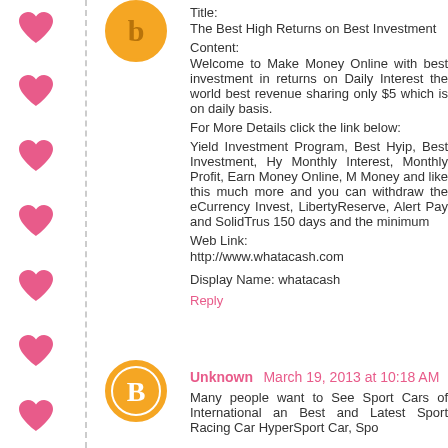Title:
The Best High Returns on Best Investment
Content:
Welcome to Make Money Online with best investment in returns on Daily Interest the world best revenue sharing only $5 which is on daily basis.
For More Details click the link below:
Yield Investment Program, Best Hyip, Best Investment, Hy Monthly Interest, Monthly Profit, Earn Money Online, M Money and like this much more and you can withdraw the eCurrency Invest, LibertyReserve, Alert Pay and SolidTrus 150 days and the minimum
Web Link:
http://www.whatacash.com
Display Name: whatacash
Reply
Unknown March 19, 2013 at 10:18 AM
Many people want to See Sport Cars of International an Best and Latest Sport Racing Car HyperSport Car, Spo